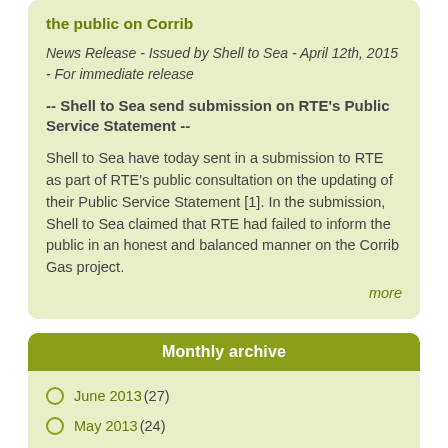the public on Corrib
News Release - Issued by Shell to Sea - April 12th, 2015 - For immediate release
-- Shell to Sea send submission on RTE's Public Service Statement --
Shell to Sea have today sent in a submission to RTE as part of RTE's public consultation on the updating of their Public Service Statement [1]. In the submission, Shell to Sea claimed that RTE had failed to inform the public in an honest and balanced manner on the Corrib Gas project.
more
Monthly archive
June 2013 (27)
May 2013 (24)
April 2013 (18)